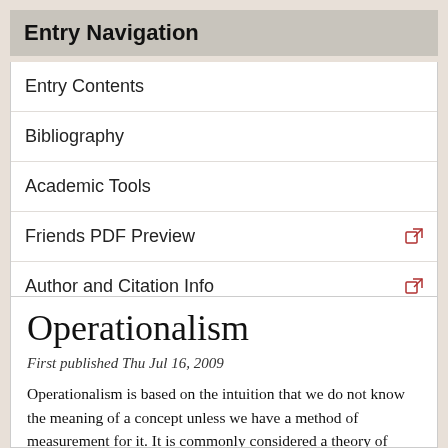Entry Navigation
Entry Contents
Bibliography
Academic Tools
Friends PDF Preview
Author and Citation Info
Operationalism
First published Thu Jul 16, 2009
Operationalism is based on the intuition that we do not know the meaning of a concept unless we have a method of measurement for it. It is commonly considered a theory of meaning which states that “we mean by any concept nothing more than a set of operations; the concept is